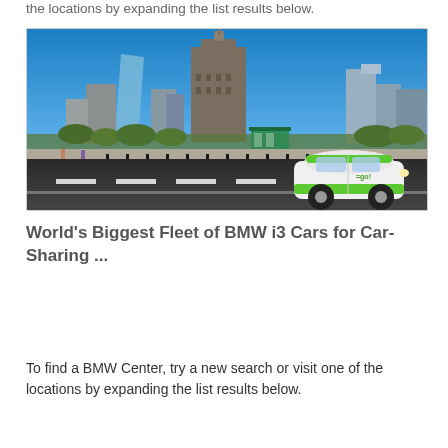the locations by expanding the list results below.
[Figure (photo): A white and green BMW i3 electric car driving on a road in front of the Warsaw skyline including the Palace of Culture and Science, under a clear blue sky.]
World's Biggest Fleet of BMW i3 Cars for Car-Sharing ...
To find a BMW Center, try a new search or visit one of the locations by expanding the list results below.